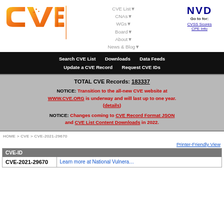[Figure (logo): CVE logo - orange gradient text 'CVE' with circuit board dots]
CVE List▼  CNAs▼  WGs▼  Board▼  About▼  News & Blog▼  NVD Go to for: CVSS Scores  CPE Info
Search CVE List  Downloads  Data Feeds  Update a CVE Record  Request CVE IDs
TOTAL CVE Records: 183337
NOTICE: Transition to the all-new CVE website at WWW.CVE.ORG is underway and will last up to one year. (details)
NOTICE: Changes coming to CVE Record Format JSON and CVE List Content Downloads in 2022.
HOME > CVE > CVE-2021-29670
Printer-Friendly View
| CVE-ID |  |
| --- | --- |
| CVE-2021-29670 | Learn more at National Vulnera... |